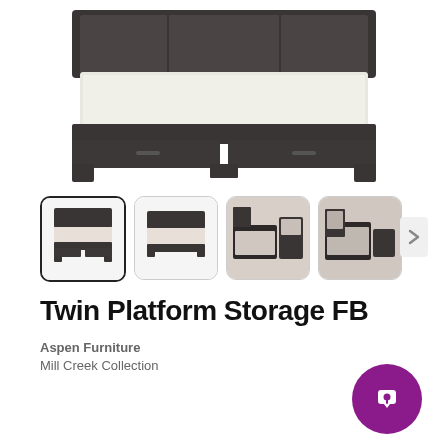[Figure (photo): Large main product image of a dark grey/charcoal twin platform storage bed frame with drawer storage underneath, shown on white background, viewed from front-angle.]
[Figure (photo): Thumbnail 1 (selected/active): Small image of dark grey twin platform storage bed frame, angled view, on white background.]
[Figure (photo): Thumbnail 2: Small image of dark grey platform bed without storage, angled view, on white background.]
[Figure (photo): Thumbnail 3: Small image of dark grey bedroom set in a room setting with mirror, nightstand, and dresser.]
[Figure (photo): Thumbnail 4: Small image of dark grey bedroom furniture set in a room scene, showing dresser with mirror.]
Twin Platform Storage FB
Aspen Furniture
Mill Creek Collection